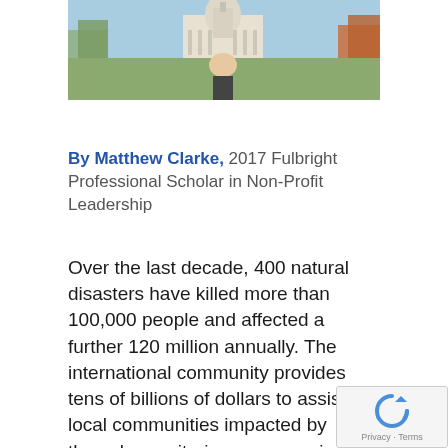[Figure (photo): Photo of a person in front of the United States Capitol building in Washington D.C., with trees and a clear sky in the background.]
By Matthew Clarke, 2017 Fulbright Professional Scholar in Non-Profit Leadership
Over the last decade, 400 natural disasters have killed more than 100,000 people and affected a further 120 million annually. The international community provides tens of billions of dollars to assist local communities impacted by these humanitarian emergencies. Increasing the professionalization leaders and managers of